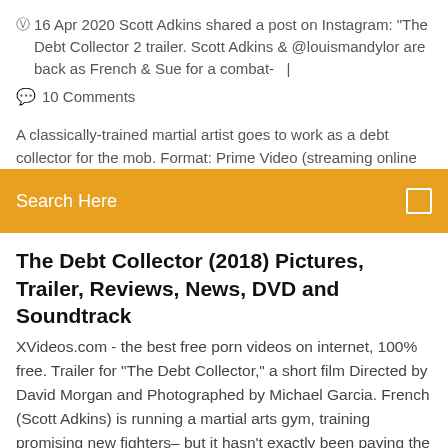16 Apr 2020 Scott Adkins shared a post on Instagram: "The Debt Collector 2 trailer. Scott Adkins & @louismandylor are back as French & Sue for a combat-   |
10 Comments
A classically-trained martial artist goes to work as a debt collector for the mob. Format: Prime Video (streaming online
[Figure (other): Orange search bar with text 'Search Here' and a small white square icon on the right]
The Debt Collector (2018) Pictures, Trailer, Reviews, News, DVD and Soundtrack
XVideos.com - the best free porn videos on internet, 100% free. Trailer for "The Debt Collector," a short film Directed by David Morgan and Photographed by Michael Garcia. French (Scott Adkins) is running a martial arts gym, training promising new fighters– but it hasn't exactly been paying the bills. To make ends meet, he begins working for the notorious but Big Tommy (Vladimir Kulich), servicing various criminal outfits throughout Southern California. Working alone or accompanied with #1